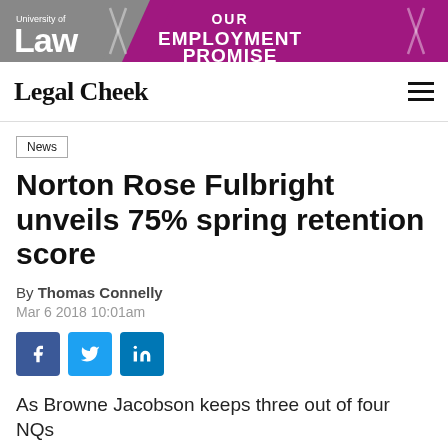[Figure (other): University of Law advertisement banner with 'OUR EMPLOYMENT PROMISE' text on purple/grey background]
Legal Cheek
News
Norton Rose Fulbright unveils 75% spring retention score
By Thomas Connelly
Mar 6 2018 10:01am
[Figure (other): Social share buttons: Facebook, Twitter, LinkedIn]
As Browne Jacobson keeps three out of four NQs